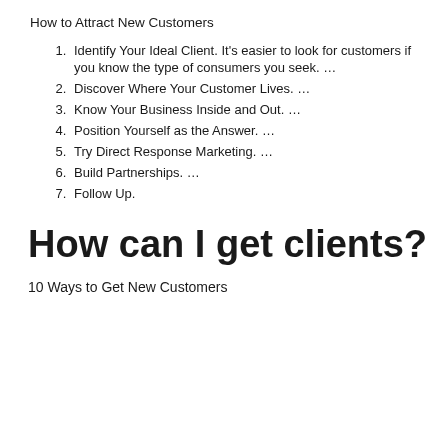How to Attract New Customers
Identify Your Ideal Client. It's easier to look for customers if you know the type of consumers you seek. …
Discover Where Your Customer Lives. …
Know Your Business Inside and Out. …
Position Yourself as the Answer. …
Try Direct Response Marketing. …
Build Partnerships. …
Follow Up.
How can I get clients?
10 Ways to Get New Customers